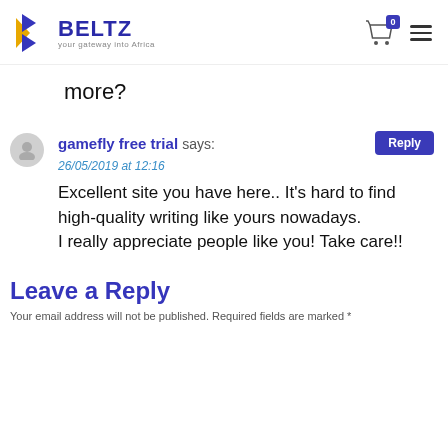BELTZ — your gateway into Africa
more?
gamefly free trial says:
26/05/2019 at 12:16
Excellent site you have here.. It’s hard to find high-quality writing like yours nowadays.
I really appreciate people like you! Take care!!
Leave a Reply
Your email address will not be published. Required fields are marked *